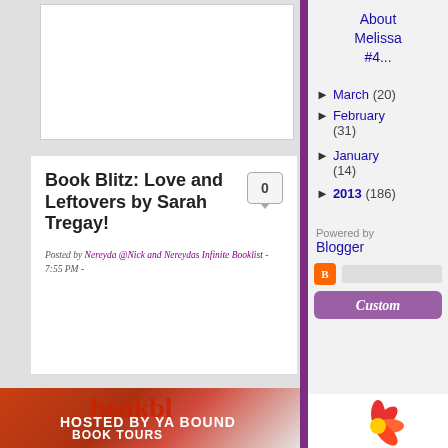[Figure (screenshot): Top white image placeholder area in main blog column]
Book Blitz: Love and Leftovers by Sarah Tregay!
Posted by Nereyda @Nick and Nereydas Infinite Booklist - 7:55 PM -
[Figure (photo): Book Blitz promotional image showing red sneaker, 'book bl...' text, May 13, Hosted by YA BOUND BOOK TOURS, love & ...]
About Melissa #4...
► March (20)
► February (31)
► January (14)
► 2013 (186)
Powered by
Blogger
[Figure (screenshot): Blogger icon and Custom button area in sidebar]
[Figure (illustration): Flower logo partially visible at bottom right]